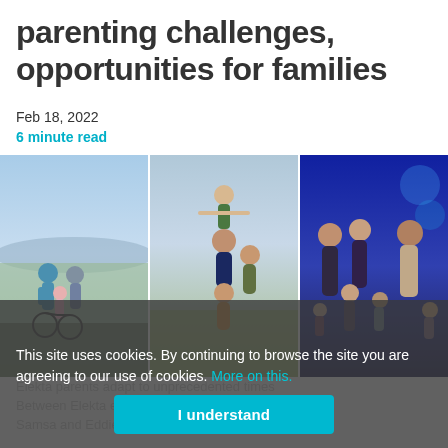parenting challenges, opportunities for families
Feb 18, 2022
6 minute read
[Figure (photo): Three family photos side by side: left shows two adults and a child with bicycles near a lake; middle shows a family of four with a girl raised up; right shows a group family photo with adults and children indoors.]
This site uses cookies. By continuing to browse the site you are agreeing to our use of cookies. More on this.
Elekta parents adapt to unprecedented times Between Elekta em... Bissell, Mark Samsa and Eddie Reiter are eight children who have